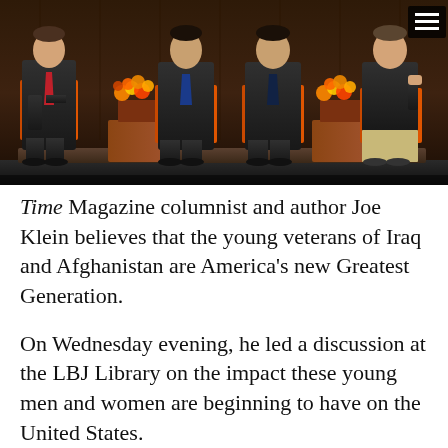[Figure (photo): Panel discussion on a stage with four men in dark suits seated in chairs. Two floral arrangements on small tables between them. Dark wood-paneled background. Hamburger menu icon in top right corner.]
Time Magazine columnist and author Joe Klein believes that the young veterans of Iraq and Afghanistan are America's new Greatest Generation.
On Wednesday evening, he led a discussion at the LBJ Library on the impact these young men and women are beginning to have on the United States.
As part of a nationwide tour to promote his recent Time cover story, “The New Greatest